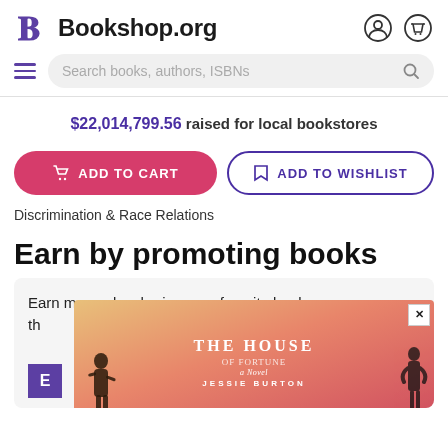Bookshop.org
$22,014,799.56 raised for local bookstores
ADD TO CART | ADD TO WISHLIST
Discrimination & Race Relations
Earn by promoting books
Earn money by sharing your favorite books through...
[Figure (illustration): Book cover popup for 'The House of Fortune: A Novel' by Jessie Burton with pink/orange gradient background and silhouetted figures]